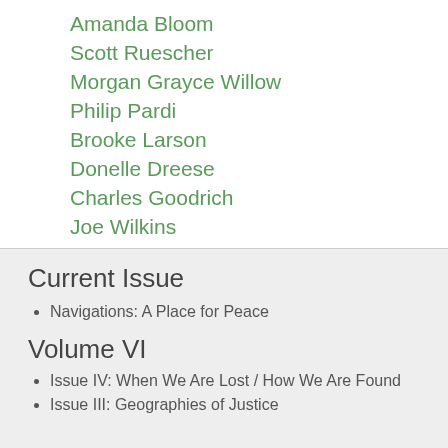Amanda Bloom
Scott Ruescher
Morgan Grayce Willow
Philip Pardi
Brooke Larson
Donelle Dreese
Charles Goodrich
Joe Wilkins
Current Issue
Navigations: A Place for Peace
Volume VI
Issue IV: When We Are Lost / How We Are Found
Issue III: Geographies of Justice